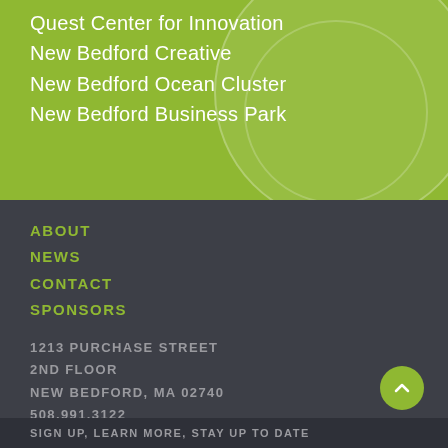Quest Center for Innovation
New Bedford Creative
New Bedford Ocean Cluster
New Bedford Business Park
ABOUT
NEWS
CONTACT
SPONSORS
1213 PURCHASE STREET
2ND FLOOR
NEW BEDFORD, MA 02740
508.991.3122
SIGN UP, LEARN MORE, STAY UP TO DATE